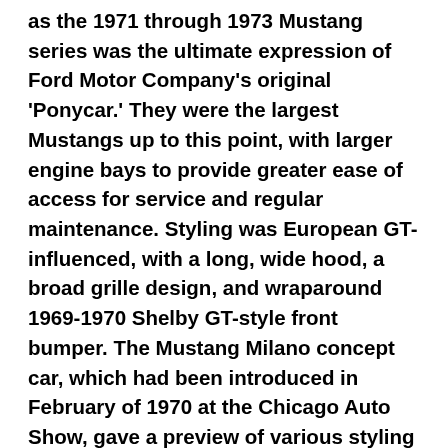as the 1971 through 1973 Mustang series was the ultimate expression of Ford Motor Company's original 'Ponycar.' They were the largest Mustangs up to this point, with larger engine bays to provide greater ease of access for service and regular maintenance. Styling was European GT-influenced, with a long, wide hood, a broad grille design, and wraparound 1969-1970 Shelby GT-style front bumper. The Mustang Milano concept car, which had been introduced in February of 1970 at the Chicago Auto Show, gave a preview of various styling elements that would appear on the 1971-1973 Mustangs. Among those features was the Sportsroof body style that had a nearly flat roofline sloping gently below the horizontal plane. Along with the Sportsroof, production Mustangs could also be purchased as a Convertible or a more formal hardtop coupe with a tunneled rear window and flying buttress. Most Mustangs received tinted glass, air conditioning, power steering, power brakes, and automatic transmissions. Slight modifications and